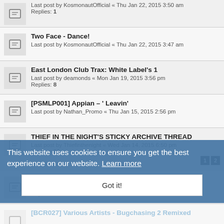Last post by KosmonautOfficial « Thu Jan 22, 2015 3:50 am
Replies: 1
Two Face - Dance!
Last post by KosmonautOfficial « Thu Jan 22, 2015 3:47 am
East London Club Trax: White Label's 1
Last post by deamonds « Mon Jan 19, 2015 3:56 pm
Replies: 8
[PSMLP001] Appian – ' Leavin'
Last post by Nathan_Promo « Thu Jan 15, 2015 2:56 pm
THIEF IN THE NIGHT'S STICKY ARCHIVE THREAD
Last post by Thiefinthenight « Wed Jan 14, 2015 6:50 pm
Replies: 23
Basheba - Hold On (Thief In he Night Remix)
Last post by Thiefinthenight « Wed Jan 14, 2015 6:44 pm
Replies: 2
[BCR027] Various Artists - Bugchasing 2 Remixed
The mayor has no respect for us
Last post by exkoikgrm « Sun Jan 04, 2015 9:33 pm
Happa
Last post by wolf83 « Mon Dec 29, 2014 5:10 am
Replies: 35
This website uses cookies to ensure you get the best experience on our website. Learn more
Got it!